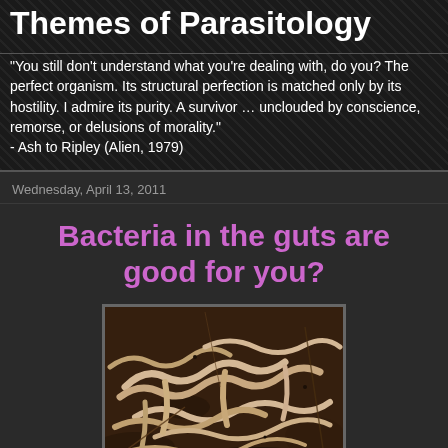Themes of Parasitology
"You still don't understand what you're dealing with, do you? The perfect organism. Its structural perfection is matched only by its hostility. I admire its purity. A survivor … unclouded by conscience, remorse, or delusions of morality." - Ash to Ripley (Alien, 1979)
Wednesday, April 13, 2011
Bacteria in the guts are good for you?
[Figure (photo): Photo of pale/cream colored worms or larvae on dark soil/earth background]